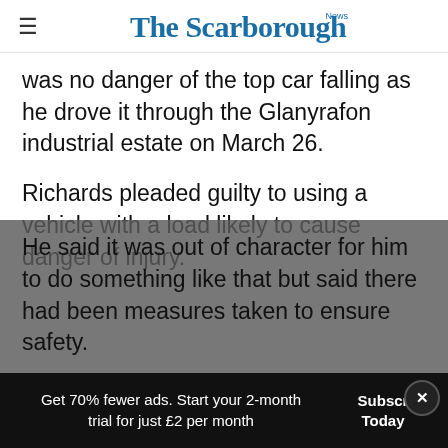The Scarborough News
was no danger of the top car falling as he drove it through the Glanyrafon industrial estate on March 26.
Richards pleaded guilty to using a vehicle with a load likely to cause danger of injury.
He said it was out of character for him to do something like that but said there had been measures taken to ensure safety.
Get 70% fewer ads. Start your 2-month trial for just £2 per month   Subscribe Today